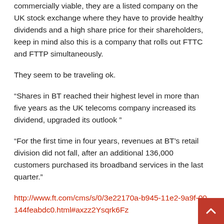commercially viable, they are a listed company on the UK stock exchange where they have to provide healthy dividends and a high share price for their shareholders, keep in mind also this is a company that rolls out FTTC and FTTP simultaneously.
They seem to be traveling ok.
“Shares in BT reached their highest level in more than five years as the UK telecoms company increased its dividend, upgraded its outlook”
“For the first time in four years, revenues at BT’s retail division did not fall, after an additional 136,000 customers purchased its broadband services in the last quarter.”
http://www.ft.com/cms/s/0/3e22170a-b945-11e2-9a9f-00144feabdc0.html#axzz2Ysqrk6Fz